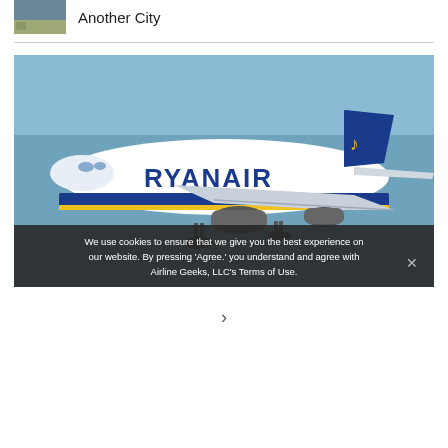Another City
[Figure (photo): Ryanair Boeing 737 aircraft in flight against blue sky, white and blue livery with yellow stripe and golden harp tail logo]
We use cookies to ensure that we give you the best experience on our website. By pressing 'Agree.' you understand and agree with Airline Geeks, LLC's Terms of Use.